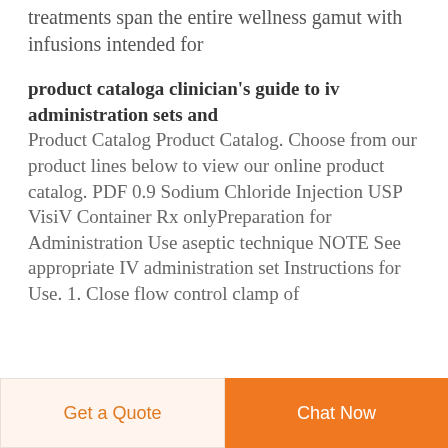treatments span the entire wellness gamut with infusions intended for
product cataloga clinician's guide to iv administration sets and
Product Catalog Product Catalog. Choose from our product lines below to view our online product catalog. PDF 0.9 Sodium Chloride Injection USP VisIV Container Rx onlyPreparation for Administration Use aseptic technique NOTE See appropriate IV administration set Instructions for Use. 1. Close flow control clamp of
Get a Quote
Chat Now